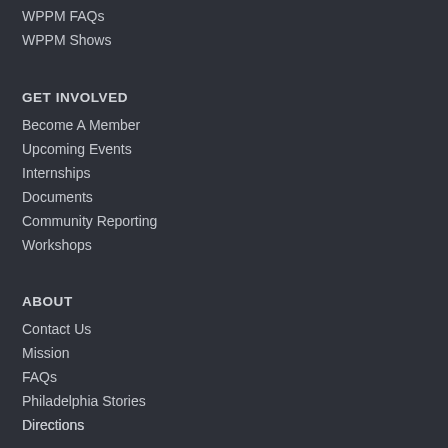WPPM FAQs
WPPM Shows
GET INVOLVED
Become A Member
Upcoming Events
Internships
Documents
Community Reporting
Workshops
ABOUT
Contact Us
Mission
FAQs
Philadelphia Stories
Directions
Blog
Board Directors
Elections